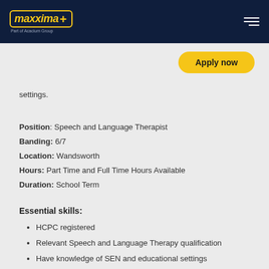[Figure (logo): Maxxima logo with yellow border and 'Part of Acacium Group' tagline on dark navy header]
[Figure (other): Apply now button in yellow with rounded corners]
settings.
Position: Speech and Language Therapist
Banding: 6/7
Location: Wandsworth
Hours: Part Time and Full Time Hours Available
Duration: School Term
Essential skills:
HCPC registered
Relevant Speech and Language Therapy qualification
Have knowledge of SEN and educational settings